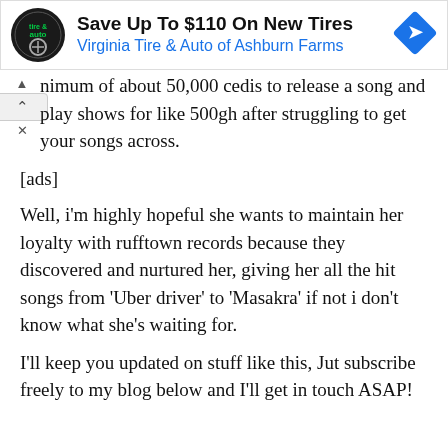[Figure (other): Advertisement banner for Virginia Tire & Auto of Ashburn Farms. Shows a circular logo with 'tire & auto' text, headline 'Save Up To $110 On New Tires', subtitle 'Virginia Tire & Auto of Ashburn Farms', and a blue diamond-shaped directions icon on the right.]
nimum of about 50,000 cedis to release a song and play shows for like 500gh after struggling to get your songs across.
[ads]
Well, i'm highly hopeful she wants to maintain her loyalty with rufftown records because they discovered and nurtured her, giving her all the hit songs from 'Uber driver' to 'Masakra' if not i don't know what she's waiting for.
I'll keep you updated on stuff like this, Jut subscribe freely to my blog below and I'll get in touch ASAP!